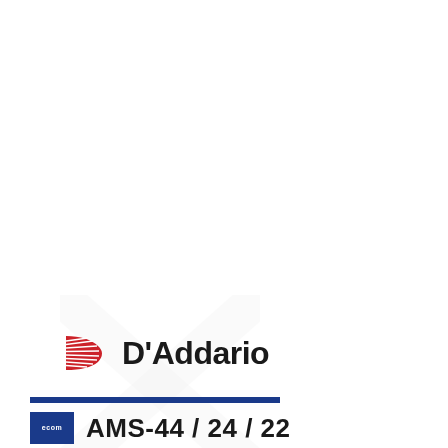[Figure (logo): D'Addario brand logo with red D icon and black wordmark 'D'Addario', with a light X-shaped watermark in the background]
AMS-44 / 24 / 22